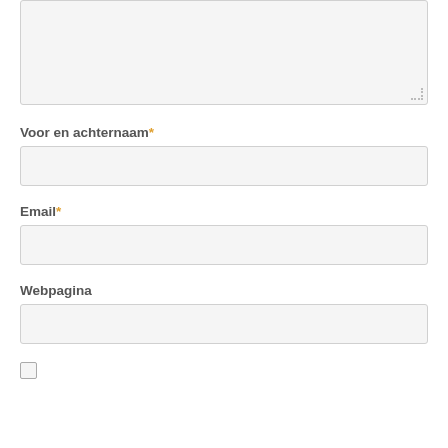[Figure (other): Textarea form field at top of page (partially visible), with resize handle at bottom-right]
Voor en achternaam*
[Figure (other): Text input field for 'Voor en achternaam']
Email*
[Figure (other): Text input field for 'Email']
Webpagina
[Figure (other): Text input field for 'Webpagina']
[Figure (other): Checkbox (partially visible at bottom of page)]